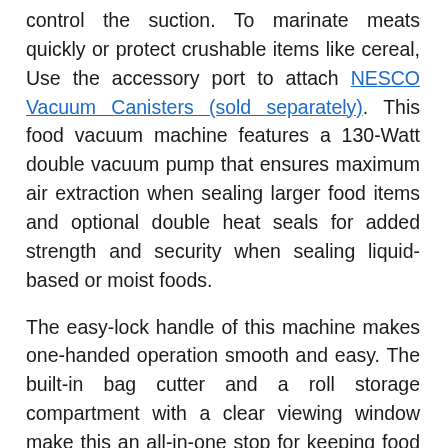control the suction. To marinate meats quickly or protect crushable items like cereal, Use the accessory port to attach NESCO Vacuum Canisters (sold separately). This food vacuum machine features a 130-Watt double vacuum pump that ensures maximum air extraction when sealing larger food items and optional double heat seals for added strength and security when sealing liquid-based or moist foods.
The easy-lock handle of this machine makes one-handed operation smooth and easy. The built-in bag cutter and a roll storage compartment with a clear viewing window make this an all-in-one stop for keeping food fresh up to 5 times longer than